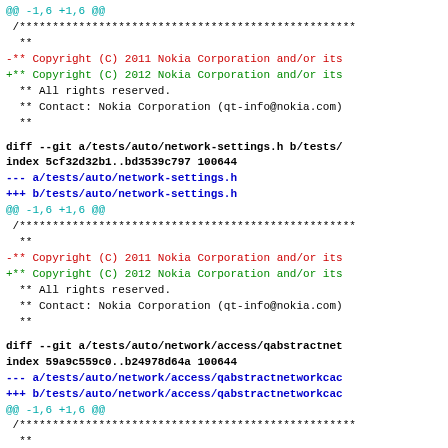@@ -1,6 +1,6 @@
 /***************************************************
  **
 -** Copyright (C) 2011 Nokia Corporation and/or its
 +** Copyright (C) 2012 Nokia Corporation and/or its
  ** All rights reserved.
  ** Contact: Nokia Corporation (qt-info@nokia.com)
  **
diff --git a/tests/auto/network-settings.h b/tests/
index 5cf32d32b1..bd3539c797 100644
--- a/tests/auto/network-settings.h
+++ b/tests/auto/network-settings.h
@@ -1,6 +1,6 @@
 /***************************************************
  **
 -** Copyright (C) 2011 Nokia Corporation and/or its
 +** Copyright (C) 2012 Nokia Corporation and/or its
  ** All rights reserved.
  ** Contact: Nokia Corporation (qt-info@nokia.com)
  **
diff --git a/tests/auto/network/access/qabstractnet
index 59a9c559c0..b24978d64a 100644
--- a/tests/auto/network/access/qabstractnetworkcac
+++ b/tests/auto/network/access/qabstractnetworkcac
@@ -1,6 +1,6 @@
 /***************************************************
  **
 -** Copyright (C) 2011 Nokia Corporation and/or its
 +** Copyright (C) 2012 Nokia Corporation and/or its